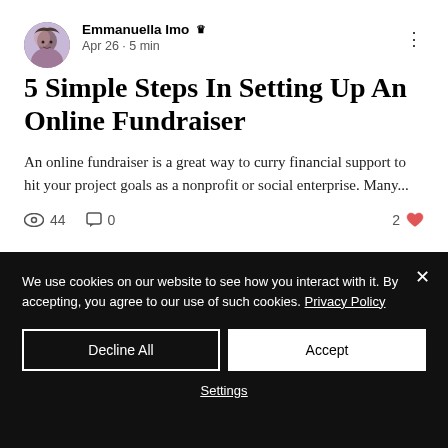[Figure (photo): Circular avatar photo of Emmanuella Imo]
Emmanuella Imo 👑
Apr 26 · 5 min
5 Simple Steps In Setting Up An Online Fundraiser
An online fundraiser is a great way to curry financial support to hit your project goals as a nonprofit or social enterprise. Many...
👁 44   💬 0   2 ♥
We use cookies on our website to see how you interact with it. By accepting, you agree to our use of such cookies. Privacy Policy
Decline All
Accept
Settings